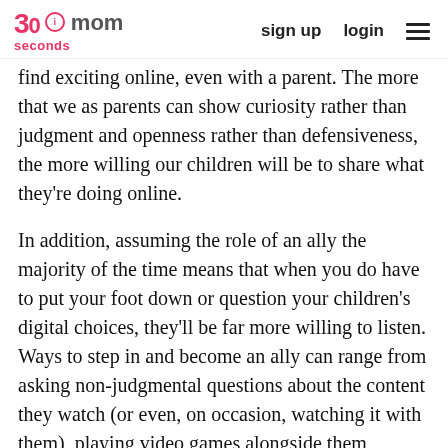30seconds mom | sign up | login
find exciting online, even with a parent. The more that we as parents can show curiosity rather than judgment and openness rather than defensiveness, the more willing our children will be to share what they're doing online.
In addition, assuming the role of an ally the majority of the time means that when you do have to put your foot down or question your children's digital choices, they'll be far more willing to listen. Ways to step in and become an ally can range from asking non-judgmental questions about the content they watch (or even, on occasion, watching it with them), playing video games alongside them, following them on social media